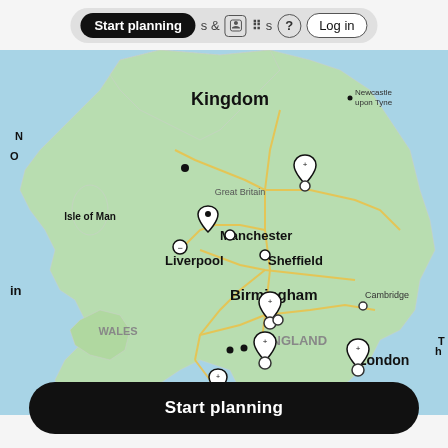[Figure (screenshot): Top navigation bar of a travel planning website with 'Start planning' pill button, activities icons, help circle, and Log in button]
[Figure (map): Google Maps style map of England and Wales showing location pins clustered around cities including Manchester, Liverpool, Sheffield, Birmingham, London, Bristol, Cardiff. Cities labeled include Kingdom (northern region), Newcastle upon Tyne, Isle of Man, Great Britain, Great Britain, Manchester, Liverpool, Sheffield, Birmingham, WALES, ENGLAND, Cambridge, London, Bristol, Cardiff, Southampton.]
Start planning